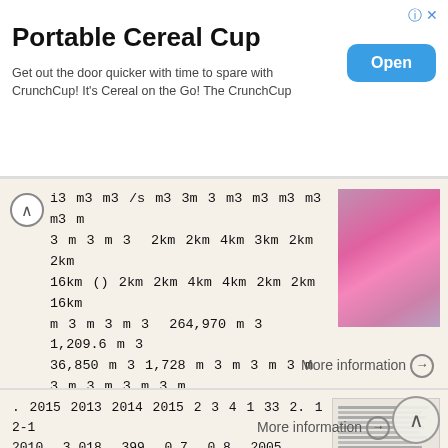[Figure (infographic): Advertisement banner for Portable Cereal Cup (CrunchCup) with Open button]
Portable Cereal Cup
Get out the door quicker with time to spare with CrunchCup! It's Cereal on the Go! The CrunchCup
i3 m3 m3 /s m3 3m 3 m3 m3 m3 m3 m3 m 3 m 3 m 3 2km 2km 4km 3km 2km 2km 16km () 2km 2km 4km 4km 2km 2km 16km m 3 m 3 m 3 264,970 m 3 1,209.6 m 3 36,850 m 3 1,728 m 3 m 3 m 3 m 3 m 3 m 3 m 3 m
More information →
. 2015 2013 2014 2015 2 3 4 1 33 2. 1 2-1 2010 3,018 399 0.7 0.8 2005 2010 2-2 2010 4,944 1,112 3.9 8.9 2005 2010 9,400 2-1 2-2 2 2-1 NITAS ver2.2 [ 2 ] 30 30 10 5m 20 30 10km 2-3 30 10 2 34 35 36 (2)
More information →